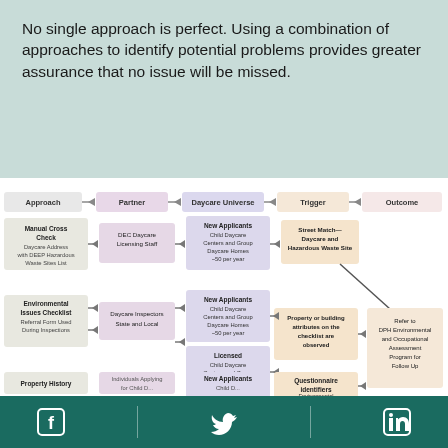No single approach is perfect. Using a combination of approaches to identify potential problems provides greater assurance that no issue will be missed.
[Figure (flowchart): Flowchart showing approaches (Manual Cross Check, Environmental Issues Checklist, Property History) connected to Partners, Daycare Universe, Triggers, and Outcome (Refer to DPH Environmental and Occupational Assessment Program for Follow Up). Columns: Approach, Partner, Daycare Universe, Trigger, Outcome.]
Facebook | Twitter | LinkedIn social media icons